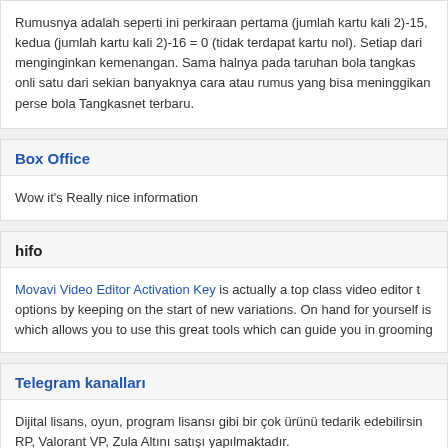Rumusnya adalah seperti ini perkiraan pertama (jumlah kartu kali 2)-15, kedua (jumlah kartu kali 2)-16 = 0 (tidak terdapat kartu nol). Setiap dari menginginkan kemenangan. Sama halnya pada taruhan bola tangkas onli satu dari sekian banyaknya cara atau rumus yang bisa meninggikan perse bola Tangkasnet terbaru.
Box Office
Wow it's Really nice information
hifo
Movavi Video Editor Activation Key is actually a top class video editor t options by keeping on the start of new variations. On hand for yourself is which allows you to use this great tools which can guide you in grooming
Telegram kanalları
Dijital lisans, oyun, program lisansı gibi bir çok ürünü tedarik edebilirsin RP, Valorant VP, Zula Altını satışı yapılmaktadır.